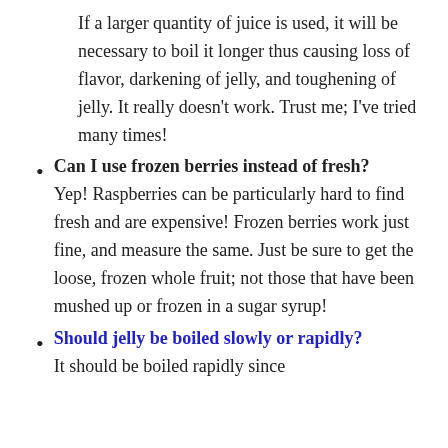If a larger quantity of juice is used, it will be necessary to boil it longer thus causing loss of flavor, darkening of jelly, and toughening of jelly. It really doesn't work. Trust me; I've tried many times!
Can I use frozen berries instead of fresh?
Yep! Raspberries can be particularly hard to find fresh and are expensive! Frozen berries work just fine, and measure the same. Just be sure to get the loose, frozen whole fruit; not those that have been mushed up or frozen in a sugar syrup!
Should jelly be boiled slowly or rapidly?
It should be boiled rapidly since